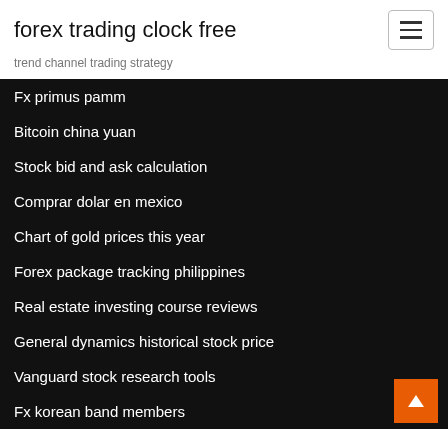forex trading clock free
trend channel trading strategy
Fx primus pamm
Bitcoin china yuan
Stock bid and ask calculation
Comprar dolar en mexico
Chart of gold prices this year
Forex package tracking philippines
Real estate investing course reviews
General dynamics historical stock price
Vanguard stock research tools
Fx korean band members